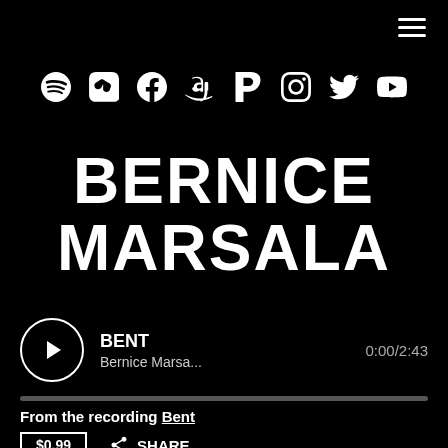[Figure (infographic): Hamburger menu icon (three horizontal lines) in top right corner]
[Figure (infographic): Row of social media icons: Spotify, Apple Music, Facebook, Amazon, Pandora, Instagram, Twitter, YouTube]
BERNICE MARSALA
[Figure (infographic): Music player widget showing play button, track title BENT, artist Bernice Marsa..., time 0:00/2:43, and a progress bar]
From the recording Bent
$0.99   SHARE